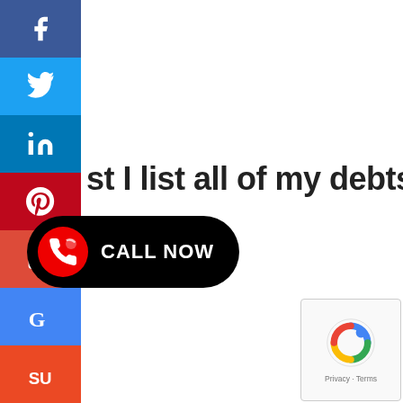[Figure (infographic): Social media sharing sidebar with icons for Facebook, Twitter, LinkedIn, Pinterest, Email, Google, and StumbleUpon]
st I list all of my debts in bankruptcy?
[Figure (infographic): Black rounded button with red phone icon circle and white text CALL NOW]
[Figure (other): Google reCAPTCHA badge with logo and Privacy - Terms text]